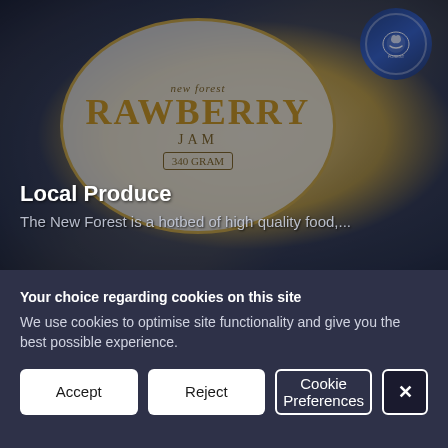[Figure (photo): Close-up photo of a New Forest Strawberry Jam jar label (340 gram), with a blue circular badge/seal in the top right corner. The image has a dark overlay.]
Local Produce
The New Forest is a hotbed of high quality food,...
Your choice regarding cookies on this site
We use cookies to optimise site functionality and give you the best possible experience.